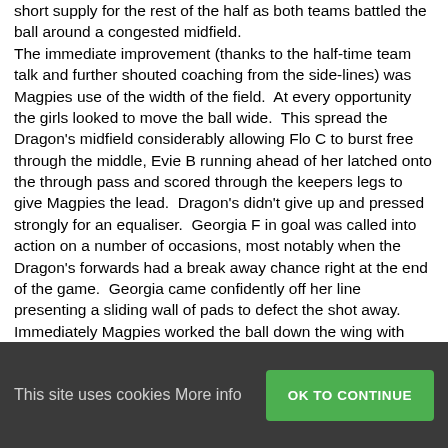short supply for the rest of the half as both teams battled the ball around a congested midfield. The immediate improvement (thanks to the half-time team talk and further shouted coaching from the side-lines) was Magpies use of the width of the field.  At every opportunity the girls looked to move the ball wide.  This spread the Dragon's midfield considerably allowing Flo C to burst free through the middle, Evie B running ahead of her latched onto the through pass and scored through the keepers legs to give Magpies the lead.  Dragon's didn't give up and pressed strongly for an equaliser.  Georgia F in goal was called into action on a number of occasions, most notably when the Dragon's forwards had a break away chance right at the end of the game.  Georgia came confidently off her line presenting a sliding wall of pads to defect the shot away. Immediately Magpies worked the ball down the wing with Jessica S and Grace S linking well to get
This site uses cookies More info